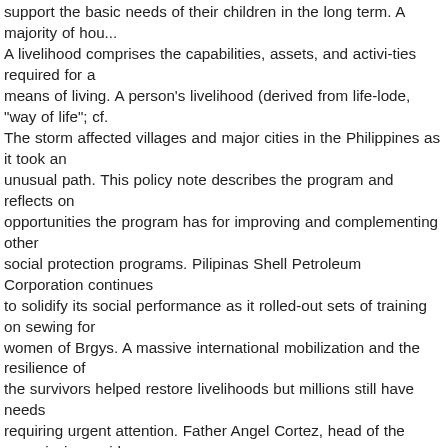support the basic needs of their children in the long term. A majority of hou... A livelihood comprises the capabilities, assets, and activi-ties required for a means of living. A person's livelihood (derived from life-lode, "way of life"; cf. The storm affected villages and major cities in the Philippines as it took an unusual path. This policy note describes the program and reflects on opportunities the program has for improving and complementing other social protection programs. Pilipinas Shell Petroleum Corporation continues to solidify its social performance as it rolled-out sets of training on sewing for women of Brgys. A massive international mobilization and the resilience of the survivors helped restore livelihoods but millions still have needs requiring urgent attention. Father Angel Cortez, head of the commission, said the plan threatens the livelihood of more than half a million drivers and about 200,000 transport operators in the country. We face big challenges to help the world's poorest people and ensure that everyone sees benefits from economic growth. THE DRIVER'S CHOICE sticker gives Shell customers more! Posted by Billy Dec on Thursday, June 12th 2014 . On November 8, 2013, Super Typhoon Haiyan made landfall in the Philippines and affected 16 million people, killing thousands and displacing millions. This also refers to Filipino citizens of either pure or mixed Japanese descent currently residing in the country, the latter a result of intermarriages between the Japanese and local populations. According to the Asian Development Bank (ADB), 21.6 percent of Filipinos live below the national poverty line. If you continue to